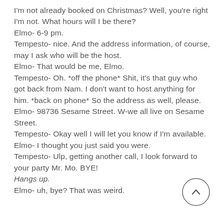I'm not already booked on Christmas? Well, you're right I'm not. What hours will I be there?
Elmo- 6-9 pm.
Tempesto- nice. And the address information, of course, may I ask who will be the host.
Elmo- That would be me, Elmo.
Tempesto- Oh. *off the phone* Shit, it's that guy who got back from Nam. I don't want to host anything for him. *back on phone* So the address as well, please.
Elmo- 98736 Sesame Street. W-we all live on Sesame Street.
Tempesto- Okay well I will let you know if I'm available.
Elmo- I thought you just said you were.
Tempesto- Ulp, getting another call, I look forward to your party Mr. Mo. BYE!
Hangs up.
Elmo- uh, bye? That was weird.